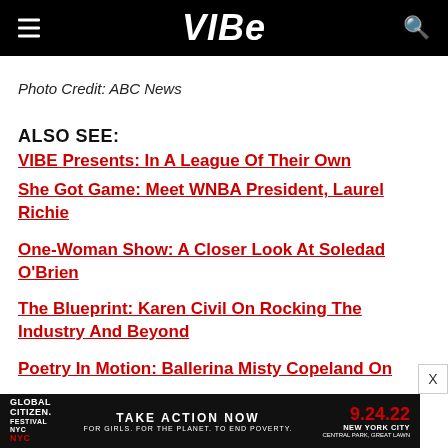VIBE
Photo Credit: ABC News
ALSO SEE:
VIBE Presents: In A League Of Their Own
She Got Game: Meet WNBA President, Laurel Richie
One-Woman Show: A Closer Look At Soledad O'Brien
The Blueprint: Karen Civil On Rocking The Industry And Beyond
Poetry In Motion: Ballerina Misty Copeland On
GLOBAL CITIZEN FESTIVAL NYC   TAKE ACTION NOW   FOR GIRLS. FOR THE PLANET. TO END POVERTY.   9.24.22   NEW YORK CITY   CENTRAL PARK, GREAT LAWN